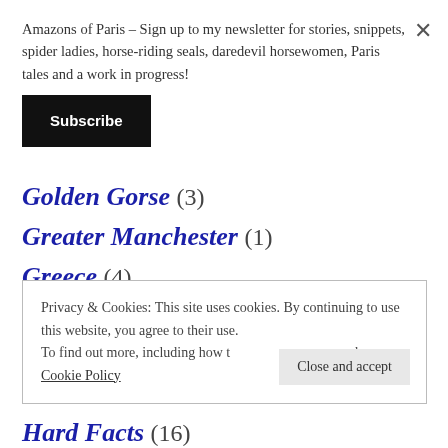Amazons of Paris – Sign up to my newsletter for stories, snippets, spider ladies, horse-riding seals, daredevil horsewomen, Paris tales and a work in progress!
Subscribe
Golden Gorse (3)
Greater Manchester (1)
Greece (4)
Grooming (15)
Privacy & Cookies: This site uses cookies. By continuing to use this website, you agree to their use. To find out more, including how to control cookies, see here: Cookie Policy
Close and accept
Hard Facts (16)